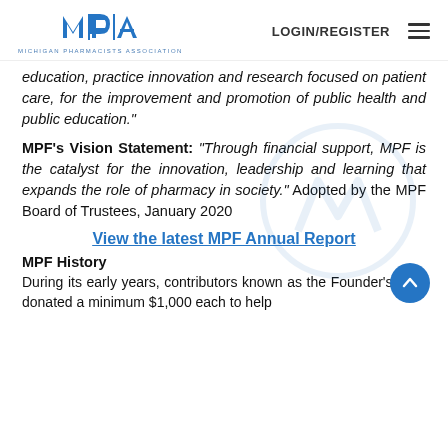Michigan Pharmacists Association | LOGIN/REGISTER
education, practice innovation and research focused on patient care, for the improvement and promotion of public health and public education."
MPF's Vision Statement: "Through financial support, MPF is the catalyst for the innovation, leadership and learning that expands the role of pharmacy in society." Adopted by the MPF Board of Trustees, January 2020
View the latest MPF Annual Report
MPF History
During its early years, contributors known as the Founder's Club donated a minimum $1,000 each to help